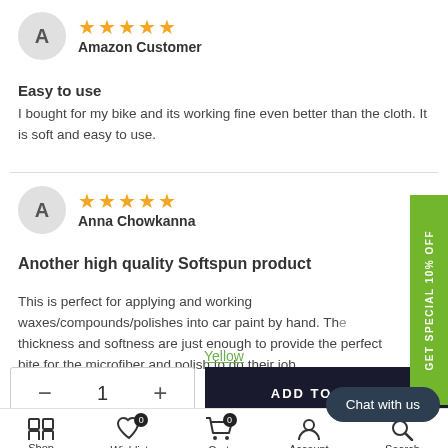★★★★★ Amazon Customer
Easy to use
I bought for my bike and its working fine even better than the cloth. It is soft and easy to use.
★★★★★ Anna Chowkanna
Another high quality Softspun product
This is perfect for applying and working waxes/compounds/polishes into car paint by hand. The thickness and softness are just enough to provide the perfect bite for the microfiber and polish to do their job
Yellow
- 1 + ADD TO CART
Chat with us
Shop  Wishlist 0  Cart 0  Account  Search